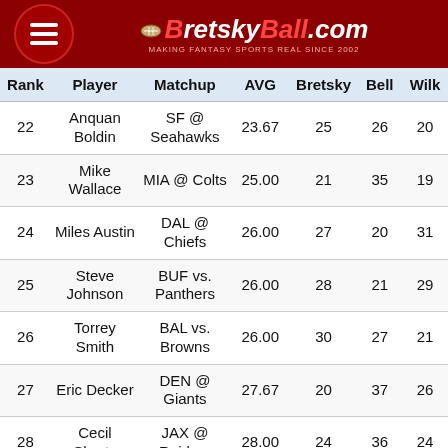BretskyBall.com — Making Fantasy Sports Real Since 2002
| Rank | Player | Matchup | AVG | Bretsky | Bell | Wilk |
| --- | --- | --- | --- | --- | --- | --- |
| 22 | Anquan Boldin | SF @ Seahawks | 23.67 | 25 | 26 | 20 |
| 23 | Mike Wallace | MIA @ Colts | 25.00 | 21 | 35 | 19 |
| 24 | Miles Austin | DAL @ Chiefs | 26.00 | 27 | 20 | 31 |
| 25 | Steve Johnson | BUF vs. Panthers | 26.00 | 28 | 21 | 29 |
| 26 | Torrey Smith | BAL vs. Browns | 26.00 | 30 | 27 | 21 |
| 27 | Eric Decker | DEN @ Giants | 27.67 | 20 | 37 | 26 |
| 28 | Cecil Shorts | JAX @ Raiders | 28.00 | 24 | 36 | 24 |
| 29 | Antonio Brown | PIT @ Bengals | 28.67 | 26 | 32 | 28 |